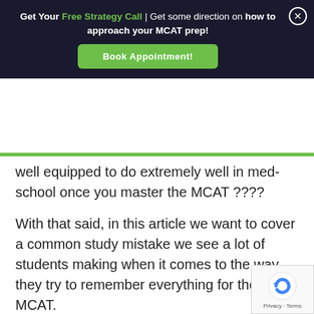Get Your Free Strategy Call | Get some direction on how to approach your MCAT prep! Book Appointment!
well equipped to do extremely well in med-school once you master the MCAT ????
With that said, in this article we want to cover a common study mistake we see a lot of students making when it comes to the way they try to remember everything for the MCAT.
Before we continue, we just wanted to invite you to enroll in our free 515+